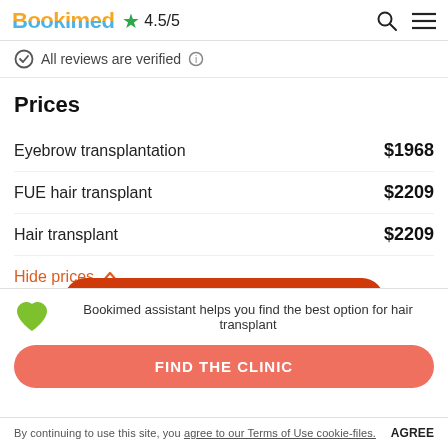Bookimed ★ 4.5/5
✓ All reviews are verified ⓘ
Prices
Eyebrow transplantation  $1968
FUE hair transplant  $2209
Hair transplant  $2209
Hide prices ∧
Bookimed assistant helps you find the best option for hair transplant
FIND THE CLINIC
By continuing to use this site, you agree to our Terms of Use cookie-files. AGREE